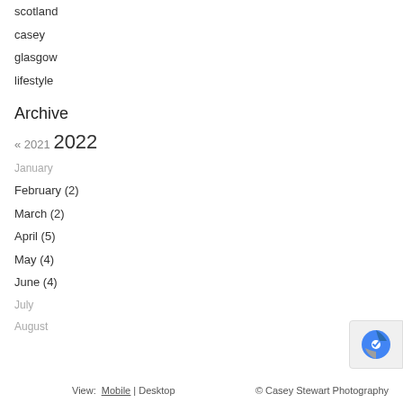scotland
casey
glasgow
lifestyle
Archive
« 2021  2022
January
February (2)
March (2)
April (5)
May (4)
June (4)
July
August
View: Mobile | Desktop   © Casey Stewart Photography